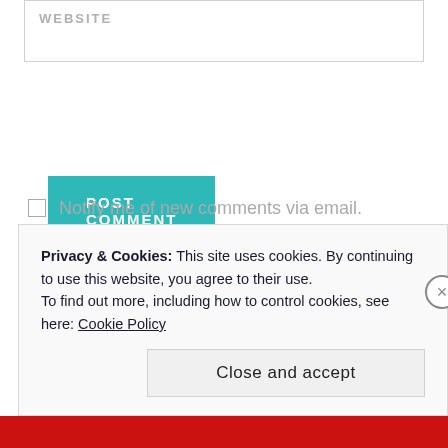WEBSITE
POST COMMENT
Notify me of new comments via email.
Notify me of new posts via email.
Privacy & Cookies: This site uses cookies. By continuing to use this website, you agree to their use. To find out more, including how to control cookies, see here: Cookie Policy
Close and accept